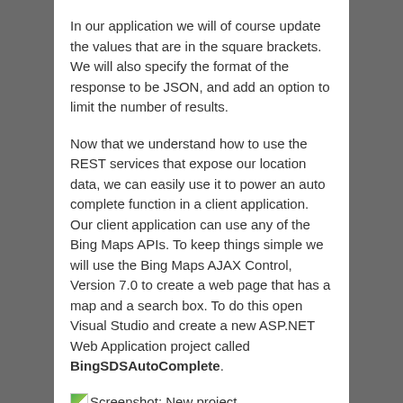In our application we will of course update the values that are in the square brackets. We will also specify the format of the response to be JSON, and add an option to limit the number of results.
Now that we understand how to use the REST services that expose our location data, we can easily use it to power an auto complete function in a client application. Our client application can use any of the Bing Maps APIs. To keep things simple we will use the Bing Maps AJAX Control, Version 7.0 to create a web page that has a map and a search box. To do this open Visual Studio and create a new ASP.NET Web Application project called BingSDSAutoComplete.
[Figure (screenshot): Screenshot placeholder icon with label 'Screenshot: New project']